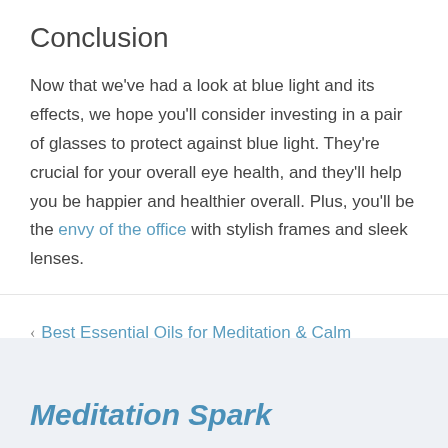Conclusion
Now that we've had a look at blue light and its effects, we hope you'll consider investing in a pair of glasses to protect against blue light. They're crucial for your overall eye health, and they'll help you be happier and healthier overall. Plus, you'll be the envy of the office with stylish frames and sleek lenses.
< Best Essential Oils for Meditation & Calm
Meditation Spark